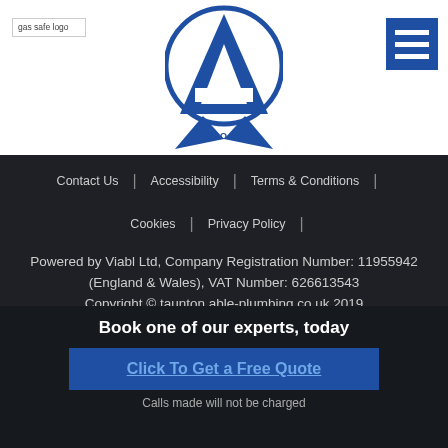[Figure (logo): Gas Safe logo placeholder, small image top left]
[Figure (logo): Able Group circular logo with blue triangle/A motif in center of header]
[Figure (other): Blue hamburger menu button top right]
Contact Us | Accessibility | Terms & Conditions |
Cookies | Privacy Policy |
Powered by Viabl Ltd, Company Registration Number: 11955942 (England & Wales), VAT Number: 626613543 Copyright © taunton.able-plumbing.co.uk 2019
Book one of our experts, today
Click To Get a Free Quote
Calls made will not be charged